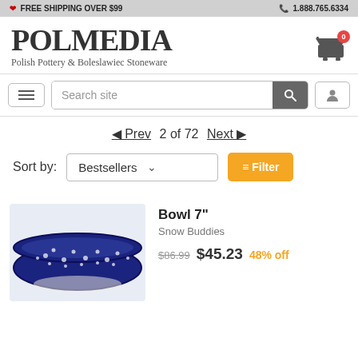FREE SHIPPING OVER $99 | 1.888.765.6334
POLMEDIA
Polish Pottery & Boleslawiec Stoneware
Search site
◀ Prev  2 of 72  Next ▶
Sort by: Bestsellers  ≡ Filter
[Figure (photo): Blue ceramic Bowl 7 inches with Snow Buddies pattern, partially visible from above]
Bowl 7"
Snow Buddies
$86.99  $45.23  48% off